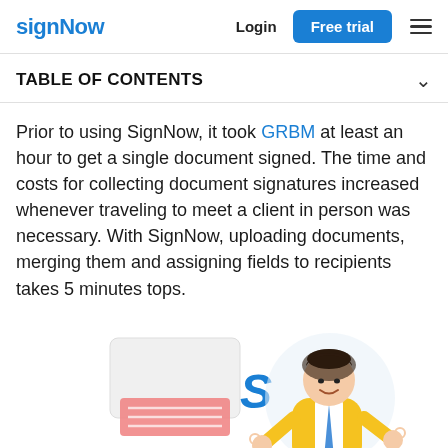signNow  Login  Free trial
TABLE OF CONTENTS
Prior to using SignNow, it took GRBM at least an hour to get a single document signed. The time and costs for collecting document signatures increased whenever traveling to meet a client in person was necessary. With SignNow, uploading documents, merging them and assigning fields to recipients takes 5 minutes tops.
[Figure (illustration): Illustration of a person meditating in a yoga pose wearing a yellow jacket and blue tie, with document and signature UI elements floating nearby, and a blue 'S' letter symbol.]